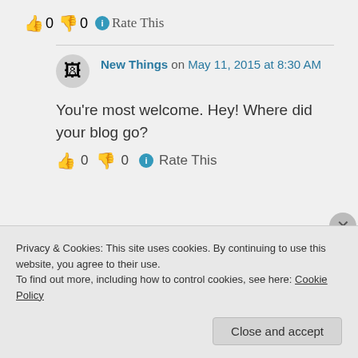👍 0 👎 0 ℹ Rate This
New Things on May 11, 2015 at 8:30 AM
You're most welcome. Hey! Where did your blog go?
👍 0 👎 0 ℹ Rate This
Privacy & Cookies: This site uses cookies. By continuing to use this website, you agree to their use.
To find out more, including how to control cookies, see here: Cookie Policy
Close and accept